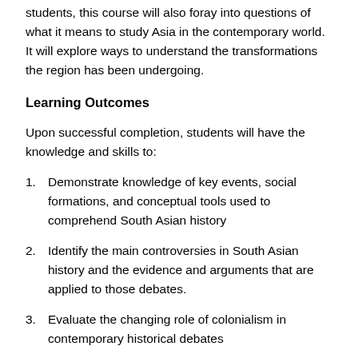students, this course will also foray into questions of what it means to study Asia in the contemporary world. It will explore ways to understand the transformations the region has been undergoing.
Learning Outcomes
Upon successful completion, students will have the knowledge and skills to:
Demonstrate knowledge of key events, social formations, and conceptual tools used to comprehend South Asian history
Identify the main controversies in South Asian history and the evidence and arguments that are applied to those debates.
Evaluate the changing role of colonialism in contemporary historical debates
Apply critical skills in the identification and use of